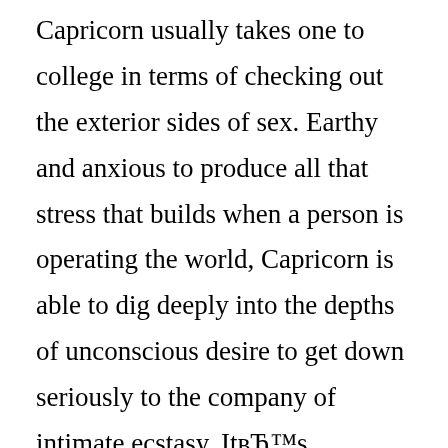Capricorn usually takes one to college in terms of checking out the exterior sides of sex. Earthy and anxious to produce all that stress that builds when a person is operating the world, Capricorn is able to dig deeply into the depths of unconscious desire to get down seriously to the company of intimate ecstasy. ItвЂ™s important to understand that if you would like get Capricorn for only a little enjoyable as well as a long-lasting booty call, you need to look closely at the «getting down